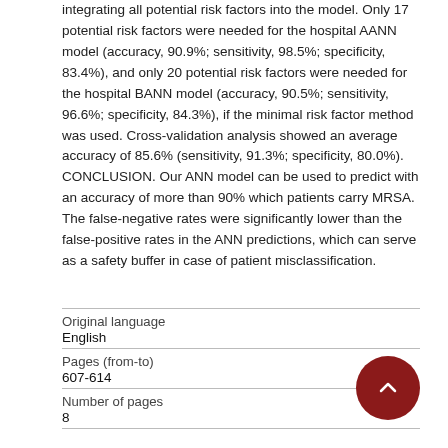integrating all potential risk factors into the model. Only 17 potential risk factors were needed for the hospital AANN model (accuracy, 90.9%; sensitivity, 98.5%; specificity, 83.4%), and only 20 potential risk factors were needed for the hospital BANN model (accuracy, 90.5%; sensitivity, 96.6%; specificity, 84.3%), if the minimal risk factor method was used. Cross-validation analysis showed an average accuracy of 85.6% (sensitivity, 91.3%; specificity, 80.0%). CONCLUSION. Our ANN model can be used to predict with an accuracy of more than 90% which patients carry MRSA. The false-negative rates were significantly lower than the false-positive rates in the ANN predictions, which can serve as a safety buffer in case of patient misclassification.
| Original language | English |
| Pages (from-to) | 607-614 |
| Number of pages | 8 |